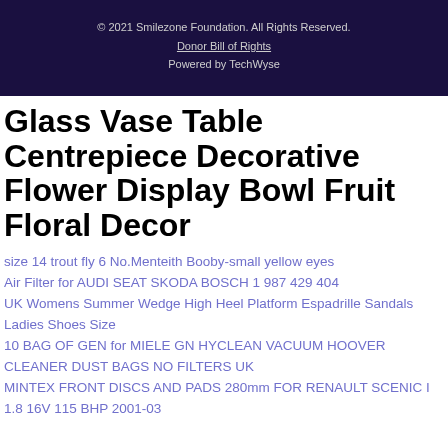© 2021 Smilezone Foundation. All Rights Reserved.
Donor Bill of Rights
Powered by TechWyse
Glass Vase Table Centrepiece Decorative Flower Display Bowl Fruit Floral Decor
size 14 trout fly 6 No.Menteith Booby-small yellow eyes
Air Filter for AUDI SEAT SKODA BOSCH 1 987 429 404
UK Womens Summer Wedge High Heel Platform Espadrille Sandals Ladies Shoes Size
10 BAG OF GEN for MIELE GN HYCLEAN VACUUM HOOVER CLEANER DUST BAGS NO FILTERS UK
MINTEX FRONT DISCS AND PADS 280mm FOR RENAULT SCENIC I 1.8 16V 115 BHP 2001-03